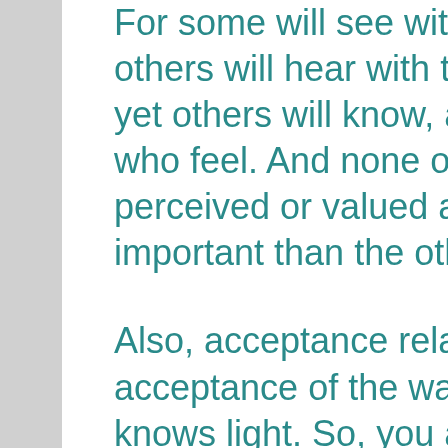For some will see with their eyes, and others will hear with their ears, and yet others will know, and the many who feel. And none of these are to be perceived or valued as better or more important than the others.
Also, acceptance relates to acceptance of the way each person knows light. So, you accept yourself as light body–then you begin to perceive light and light body, yours and others. And it is not just people who have light body, for all beings, all spirit in your plane has light body, including tables and